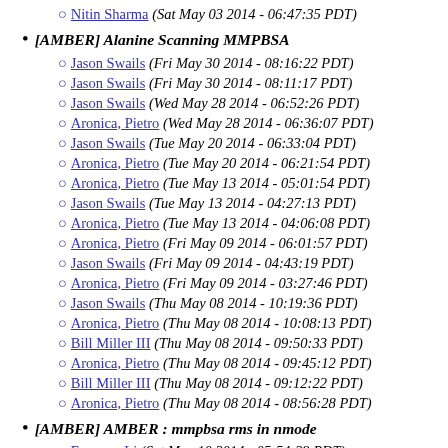Nitin Sharma (Sat May 03 2014 - 06:47:35 PDT)
[AMBER] Alanine Scanning MMPBSA
Jason Swails (Fri May 30 2014 - 08:16:22 PDT)
Jason Swails (Fri May 30 2014 - 08:11:17 PDT)
Jason Swails (Wed May 28 2014 - 06:52:26 PDT)
Aronica, Pietro (Wed May 28 2014 - 06:36:07 PDT)
Jason Swails (Tue May 20 2014 - 06:33:04 PDT)
Aronica, Pietro (Tue May 20 2014 - 06:21:54 PDT)
Aronica, Pietro (Tue May 13 2014 - 05:01:54 PDT)
Jason Swails (Tue May 13 2014 - 04:27:13 PDT)
Aronica, Pietro (Tue May 13 2014 - 04:06:08 PDT)
Aronica, Pietro (Fri May 09 2014 - 06:01:57 PDT)
Jason Swails (Fri May 09 2014 - 04:43:19 PDT)
Aronica, Pietro (Fri May 09 2014 - 03:27:46 PDT)
Jason Swails (Thu May 08 2014 - 10:19:36 PDT)
Aronica, Pietro (Thu May 08 2014 - 10:08:13 PDT)
Bill Miller III (Thu May 08 2014 - 09:50:33 PDT)
Aronica, Pietro (Thu May 08 2014 - 09:45:12 PDT)
Bill Miller III (Thu May 08 2014 - 09:12:22 PDT)
Aronica, Pietro (Thu May 08 2014 - 08:56:28 PDT)
[AMBER] AMBER : mmpbsa rms in nmode
Fengxue Li (Sat May 10 2014 - 05:54:29 PDT)
[AMBER] AMBER Digest, Vol 855, Issue 1
Duggan, Brendan (Thu May 15 2014 - 12:18:17 PDT)
[AMBER] amber in namd